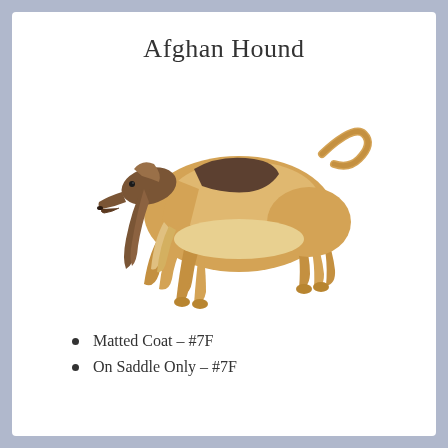Afghan Hound
[Figure (illustration): Side-profile illustration of an Afghan Hound dog standing, showing its long flowing golden/tan coat with a darker brown saddle/mask, long ears, and curled tail.]
Matted Coat – #7F
On Saddle Only – #7F